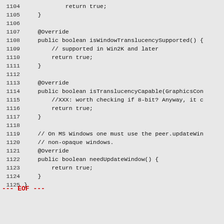Code listing lines 1104-1125 showing Java source code for Windows translucency support methods, followed by EOF marker
--- EOF ---